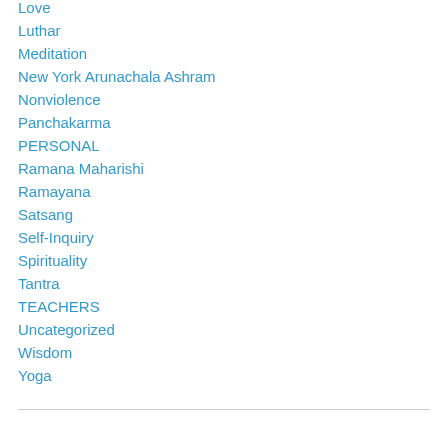Love
Luthar
Meditation
New York Arunachala Ashram
Nonviolence
Panchakarma
PERSONAL
Ramana Maharishi
Ramayana
Satsang
Self-Inquiry
Spirituality
Tantra
TEACHERS
Uncategorized
Wisdom
Yoga